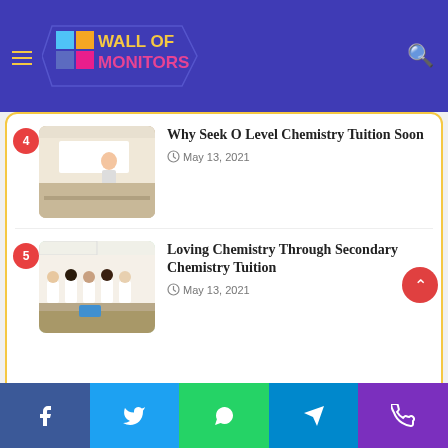Picking New Curtains Online Sets
[Figure (logo): Wall of Monitors logo with colored boxes and text on blue navigation bar]
4 Why Seek O Level Chemistry Tuition Soon — May 13, 2021
5 Loving Chemistry Through Secondary Chemistry Tuition — May 13, 2021
Categories
> All
> Automotive